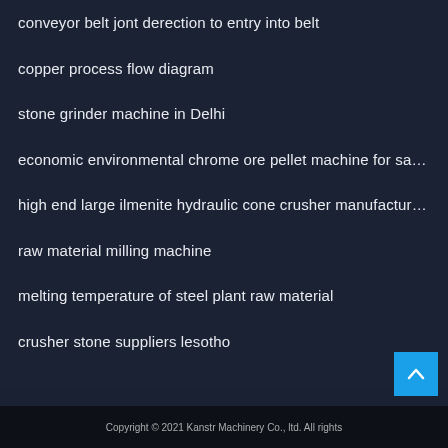conveyor belt jont derection to entry into belt
copper process flow diagram
stone grinder machine in Delhi
economic environmental chrome ore pellet machine for sa…
high end large ilmenite hydraulic cone crusher manufactur…
raw material milling machine
melting temperature of steel plant raw material
crusher stone suppliers lesotho
Copyright © 2021 Kanstr Machinery Co., ltd. All rights